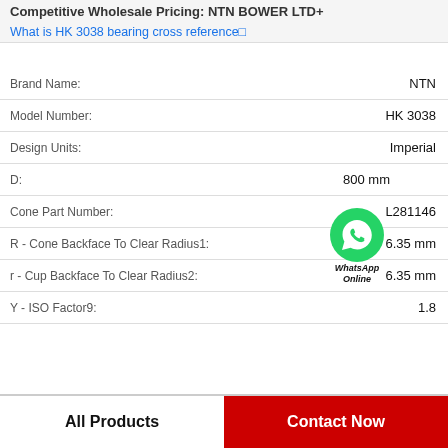Competitive Wholesale Pricing: NTN BOWER LTD+
What is HK 3038 bearing cross reference?
| Property | Value |
| --- | --- |
| Brand Name: | NTN |
| Model Number: | HK 3038 |
| Design Units: | Imperial |
| D: | 800 mm |
| Cone Part Number: | L281146 |
| R - Cone Backface To Clear Radius1: | 6.35 mm |
| r - Cup Backface To Clear Radius2: | 6.35 mm |
| Y - ISO Factor9: | 1.8 |
[Figure (logo): WhatsApp contact button with green phone icon and 'WhatsApp Online' label]
All Products
Contact Now